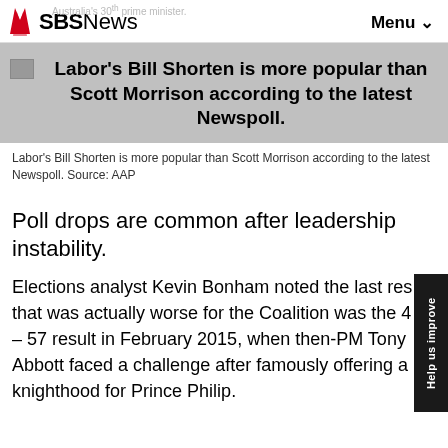SBS News  Menu
[Figure (photo): Gray banner image showing Labor's Bill Shorten is more popular than Scott Morrison according to the latest Newspoll.]
Labor's Bill Shorten is more popular than Scott Morrison according to the latest Newspoll. Source: AAP
Poll drops are common after leadership instability.
Elections analyst Kevin Bonham noted the last result that was actually worse for the Coalition was the 4 – 57 result in February 2015, when then-PM Tony Abbott faced a challenge after famously offering a knighthood for Prince Philip.